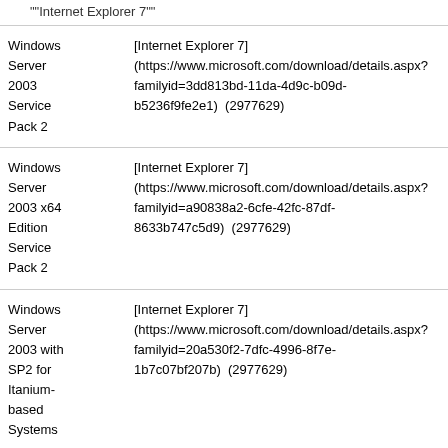"""Internet Explorer 7"""
| OS | Download |
| --- | --- |
| Windows Server 2003 Service Pack 2 | [Internet Explorer 7] (https://www.microsoft.com/download/details.aspx?familyid=3dd813bd-11da-4d9c-b09d-b5236f9fe2e1)  (2977629) |
| Windows Server 2003 x64 Edition Service Pack 2 | [Internet Explorer 7] (https://www.microsoft.com/download/details.aspx?familyid=a90838a2-6cfe-42fc-87df-8633b747c5d9)  (2977629) |
| Windows Server 2003 with SP2 for Itanium-based Systems | [Internet Explorer 7] (https://www.microsoft.com/download/details.aspx?familyid=20a530f2-7dfc-4996-8f7e-1b7c07bf207b)  (2977629) |